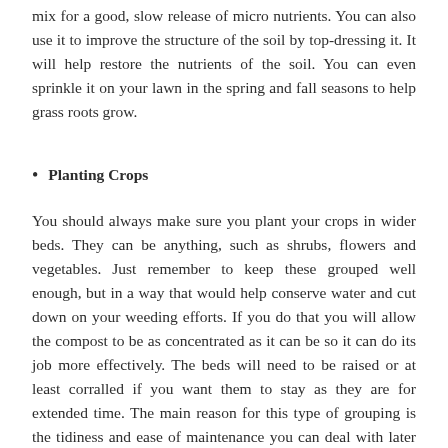mix for a good, slow release of micro nutrients. You can also use it to improve the structure of the soil by top-dressing it. It will help restore the nutrients of the soil. You can even sprinkle it on your lawn in the spring and fall seasons to help grass roots grow.
Planting Crops
You should always make sure you plant your crops in wider beds. They can be anything, such as shrubs, flowers and vegetables. Just remember to keep these grouped well enough, but in a way that would help conserve water and cut down on your weeding efforts. If you do that you will allow the compost to be as concentrated as it can be so it can do its job more effectively. The beds will need to be raised or at least corralled if you want them to stay as they are for extended time. The main reason for this type of grouping is the tidiness and ease of maintenance you can deal with later down the line. When it comes to plants and